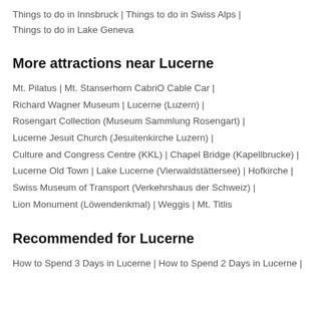Things to do in Innsbruck | Things to do in Swiss Alps | Things to do in Lake Geneva
More attractions near Lucerne
Mt. Pilatus | Mt. Stanserhorn CabriO Cable Car | Richard Wagner Museum | Lucerne (Luzern) | Rosengart Collection (Museum Sammlung Rosengart) | Lucerne Jesuit Church (Jesuitenkirche Luzern) | Culture and Congress Centre (KKL) | Chapel Bridge (Kapellbrucke) | Lucerne Old Town | Lake Lucerne (Vierwaldstättersee) | Hofkirche | Swiss Museum of Transport (Verkehrshaus der Schweiz) | Lion Monument (Löwendenkmal) | Weggis | Mt. Titlis
Recommended for Lucerne
How to Spend 3 Days in Lucerne | How to Spend 2 Days in Lucerne |